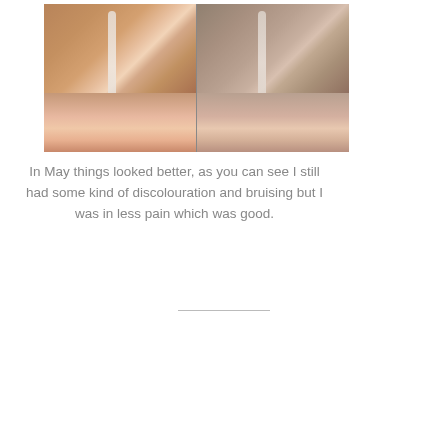[Figure (photo): Two side-by-side photographs of a foot/heel showing discolouration and bruising, with a visible scar or wound mark on the skin. The left photo shows the foot from one angle and the right from another, both displaying reddish-pink skin with discolouration.]
In May things looked better, as you can see I still had some kind of discolouration and bruising but I was in less pain which was good.